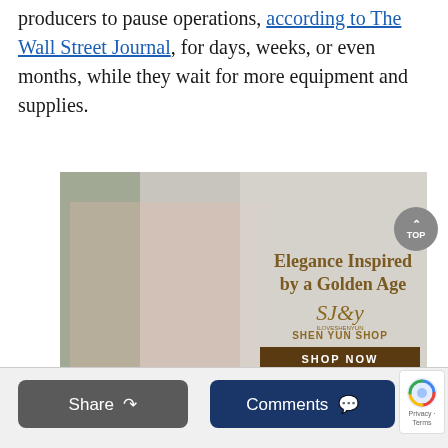producers to pause operations, according to The Wall Street Journal, for days, weeks, or even months, while they wait for more equipment and supplies.
[Figure (photo): Advertisement for Shen Yun Shop showing a woman in a pink blazer holding a black leather handbag. Text reads 'Elegance Inspired by a Golden Age' with 'SHEN YUN SHOP' logo and 'SHOP NOW' button.]
Share   Comments